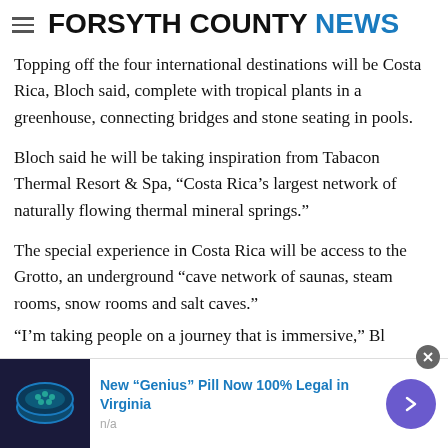FORSYTH COUNTY NEWS
Topping off the four international destinations will be Costa Rica, Bloch said, complete with tropical plants in a greenhouse, connecting bridges and stone seating in pools.
Bloch said he will be taking inspiration from Tabacon Thermal Resort & Spa, “Costa Rica’s largest network of naturally flowing thermal mineral springs.”
The special experience in Costa Rica will be access to the Grotto, an underground “cave network of saunas, steam rooms, snow rooms and salt caves.”
“I’m...
[Figure (other): Advertisement banner: New “Genius” Pill Now 100% Legal in Virginia, n/a, with image of decorative ring item, blue arrow button, and close X button]